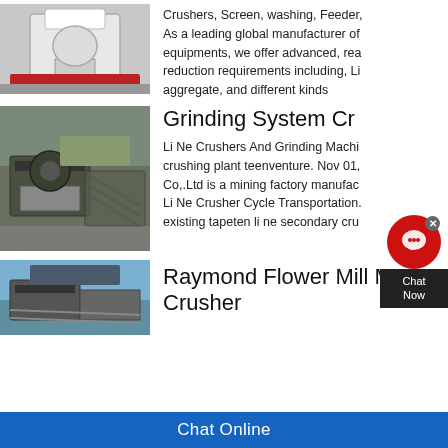[Figure (photo): Industrial crusher machine, white/grey, large equipment in workshop]
Crushers, Screen, washing, Feeder, As a leading global manufacturer of equipments, we offer advanced, reasonable reduction requirements including, Li Ne aggregate, and different kinds
[Figure (photo): Outdoor mining crushing plant with conveyors and rocky terrain]
Grinding System Cr...
Li Ne Crushers And Grinding Machi... crushing plant teenventure. Nov 01, Co,.Ltd is a mining factory manufac... Li Ne Crusher Cycle Transportation... existing tapeten li ne secondary cru...
[Figure (photo): Mining equipment conveyor/crusher machinery outdoors]
Raymond Flower Mill M... Crusher
Chat Online